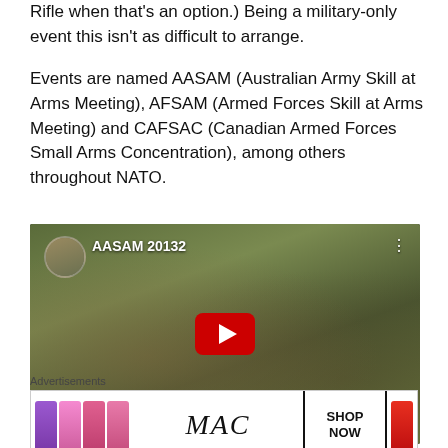Rifle when that's an option.) Being a military-only event this isn't as difficult to arrange.
Events are named AASAM (Australian Army Skill at Arms Meeting), AFSAM (Armed Forces Skill at Arms Meeting) and CAFSAC (Canadian Armed Forces Small Arms Concentration), among others throughout NATO.
[Figure (screenshot): YouTube video thumbnail showing 'AASAM 20132' with a soldier in camouflage gear aiming a rifle. Red YouTube play button in center.]
Advertisements
[Figure (photo): MAC cosmetics advertisement banner showing lipsticks in purple, pink and red colors alongside MAC logo and SHOP NOW button.]